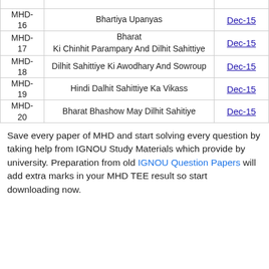| Code | Subject | Date |
| --- | --- | --- |
| MHD-16 | Bhartiya Upanyas | Dec-15 |
| MHD-17 | Bharat Ki Chinhit Parampary And Dilhit Sahittiye | Dec-15 |
| MHD-18 | Dilhit Sahittiye Ki Awodhary And Sowroup | Dec-15 |
| MHD-19 | Hindi Dalhit Sahittiye Ka Vikass | Dec-15 |
| MHD-20 | Bharat Bhashow May Dilhit Sahitiye | Dec-15 |
Save every paper of MHD and start solving every question by taking help from IGNOU Study Materials which provide by university. Preparation from old IGNOU Question Papers will add extra marks in your MHD TEE result so start downloading now.